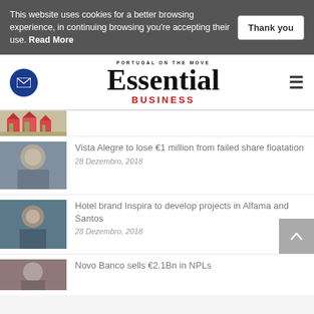This website uses cookies for a better browsing experience, in continuing browsing you're accepting their use. Read More
[Figure (logo): Essential Business magazine logo with tagline 'Portugal on the Move']
[Figure (photo): Thumbnail of houses]
Vista Alegre to lose €1 million from failed share floatation
28 Dezembro, 2018
Hotel brand Inspira to develop projects in Alfama and Santos
28 Dezembro, 2018
Novo Banco sells €2.1Bn in NPLs